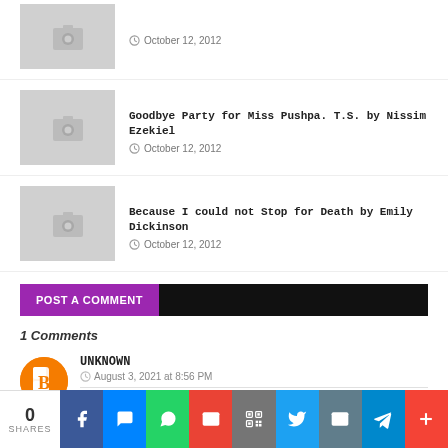[Figure (screenshot): Blog post thumbnail with camera icon placeholder, date October 12 2012 (partial row, title cut off)]
October 12, 2012
[Figure (screenshot): Blog post thumbnail with camera icon placeholder]
Goodbye Party for Miss Pushpa. T.S. by Nissim Ezekiel
October 12, 2012
[Figure (screenshot): Blog post thumbnail with camera icon placeholder]
Because I could not Stop for Death by Emily Dickinson
October 12, 2012
POST A COMMENT
1 Comments
UNKNOWN
August 3, 2021 at 8:56 PM
Q. Bring out the humour of the piece with close reference to the narrator's behaviour. (100-120 words)
0 SHARES